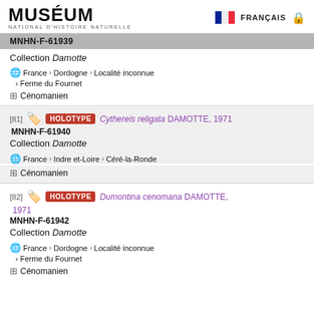MUSÉUM NATIONAL D'HISTOIRE NATURELLE — FRANÇAIS
MNHN-F-61939
Collection Damotte
France > Dordogne > Localité inconnue
> Ferme du Fournet
Cénomanien
[81] HOLOTYPE Cythereis religata DAMOTTE, 1971
MNHN-F-61940
Collection Damotte
France > Indre et-Loire > Céré-la-Ronde
Cénomanien
[82] HOLOTYPE Dumontina cenomana DAMOTTE, 1971
MNHN-F-61942
Collection Damotte
France > Dordogne > Localité inconnue
> Ferme du Fournet
Cénomanien